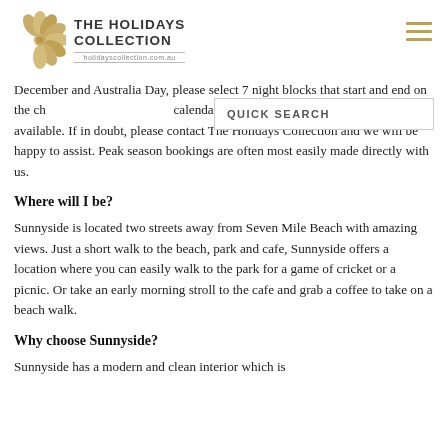THE HOLIDAYS COLLECTION
holidayscollection.com.au
December and Australia Day, please select 7 night blocks that start and end on the ch... QUICK SEARCH calendar may indicate that dates are not available. If in doubt, please contact The Holidays Collection and we will be happy to assist. Peak season bookings are often most easily made directly with us.
Where will I be?
Sunnyside is located two streets away from Seven Mile Beach with amazing views. Just a short walk to the beach, park and cafe, Sunnyside offers a location where you can easily walk to the park for a game of cricket or a picnic. Or take an early morning stroll to the cafe and grab a coffee to take on a beach walk.
Why choose Sunnyside?
Sunnyside has a modern and clean interior which is